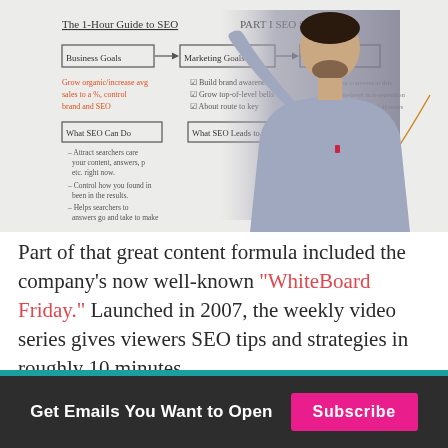[Figure (photo): A man in a light blue shirt standing in front of a whiteboard that reads 'The 1-Hour Guide to SEO PART I SEO Strategy' with diagrams showing Business Goals, Marketing Goals, What SEO Can Do, What SEO Leads To, and Growth Path. The man is gesturing upward with his right hand toward the whiteboard.]
Part of that great content formula included the company’s now well-known “WhiteBoard Friday.” Launched in 2007, the weekly video series gives viewers SEO tips and strategies in roughly 10 minutes.
Get Emails You Want to Open
Subscribe